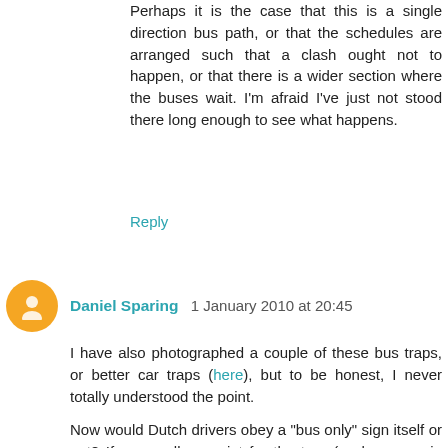Perhaps it is the case that this is a single direction bus path, or that the schedules are arranged such that a clash ought not to happen, or that there is a wider section where the buses wait. I'm afraid I've just not stood there long enough to see what happens.
Reply
Daniel Sparing  1 January 2010 at 20:45
I have also photographed a couple of these bus traps, or better car traps (here), but to be honest, I never totally understood the point.
Now would Dutch drivers obey a "bus only" sign itself or not? If yes, well no point for the trap (such as e.g. in Germany). If not, then, what really happens if a car really gets trapped? bus traffic blocked!
Wouldn't a tiny camera be more useful, sending some checks to the car owners? Would it really be more expensive?
Reply